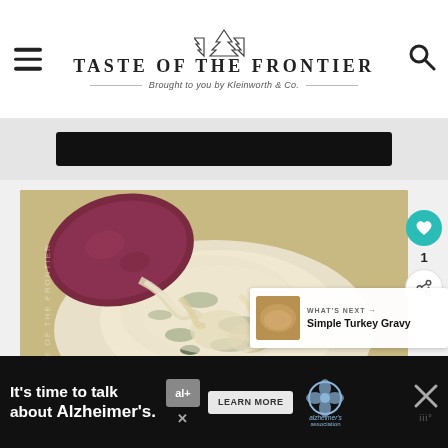TASTE OF THE FRONTIER
Brought to you by Kleinworth & Co.
[Figure (photo): Close-up photo of spinach artichoke dip being scooped with a purple/blue tortilla chip, showing creamy cheesy texture with green spinach pieces]
WHAT'S NEXT → Simple Turkey Gravy
[Figure (photo): Advertisement banner: It's time to talk about Alzheimer's. LEARN MORE button, Alzheimer's Association logo]